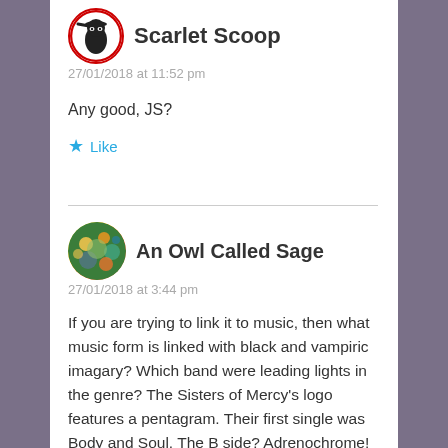Scarlet Scoop
27/01/2018 at 11:52 pm
Any good, JS?
★ Like
An Owl Called Sage
27/01/2018 at 3:44 pm
If you are trying to link it to music, then what music form is linked with black and vampiric imagary? Which band were leading lights in the genre? The Sisters of Mercy's logo features a pentagram. Their first single was Body and Soul. The B side? Adrenochrome!